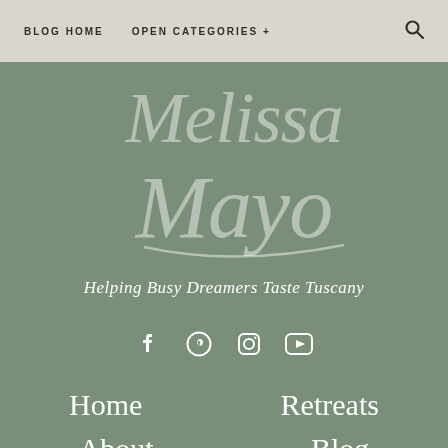BLOG HOME   OPEN CATEGORIES +   🔍
[Figure (logo): Handwritten script logo reading 'Melissa Mayo' in a cursive font on a sage green background]
Helping Busy Dreamers Taste Tuscany
[Figure (infographic): Social media icons: Facebook, Pinterest, Instagram, YouTube]
Home
Retreats
About
Blog